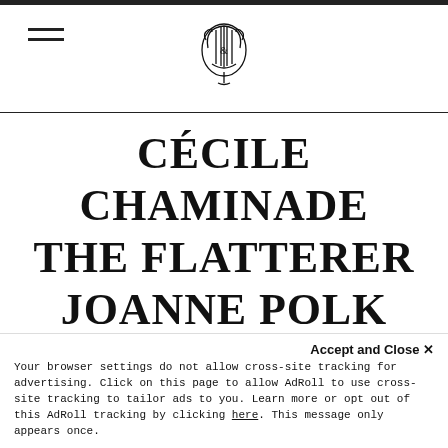Steinway & Sons website header with hamburger menu and lyre logo
CÉCILE CHAMINADE THE FLATTERER JOANNE POLK
Joanne Polk, noted pianist and champion of music by female composers, makes her debut on the Steinway label with an irresist…
Accept and Close ×
Your browser settings do not allow cross-site tracking for advertising. Click on this page to allow AdRoll to use cross-site tracking to tailor ads to you. Learn more or opt out of this AdRoll tracking by clicking here. This message only appears once.